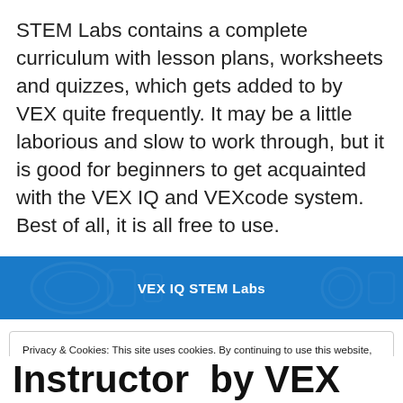STEM Labs contains a complete curriculum with lesson plans, worksheets and quizzes, which gets added to by VEX quite frequently. It may be a little laborious and slow to work through, but it is good for beginners to get acquainted with the VEX IQ and VEXcode system. Best of all, it is all free to use.
[Figure (screenshot): Blue banner button labeled 'VEX IQ STEM Labs' with decorative robotics icons in background]
Privacy & Cookies: This site uses cookies. By continuing to use this website, you agree to their use.
To find out more, including how to control cookies, see here: Cookie Policy
Close and accept
Instructor by VEX